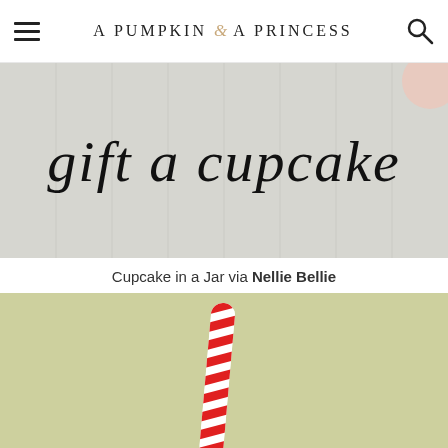A PUMPKIN & A PRINCESS
[Figure (photo): Blog post banner image with handwritten-style text reading 'gift a cupcake' on a light grey/beige wainscoting background]
Cupcake in a Jar via Nellie Bellie
[Figure (photo): A red and white candy cane striped straw standing upright on a light sage green background, partially cut off at bottom]